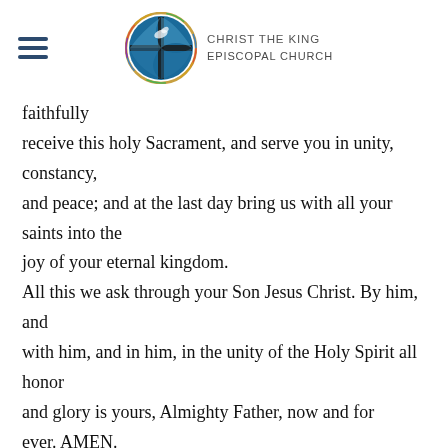Christ the King Episcopal Church
faithfully
receive this holy Sacrament, and serve you in unity, constancy,
and peace; and at the last day bring us with all your saints into the
joy of your eternal kingdom.
All this we ask through your Son Jesus Christ. By him, and
with him, and in him, in the unity of the Holy Spirit all honor
and glory is yours, Almighty Father, now and for ever. AMEN.